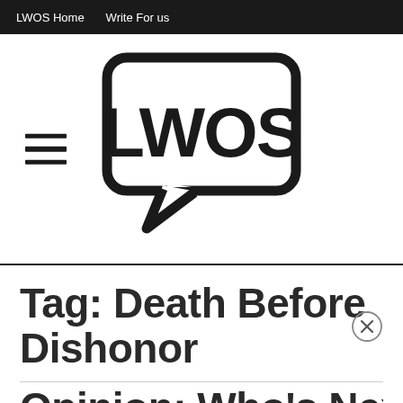LWOS Home   Write For us
[Figure (logo): LWOS logo: speech bubble with rounded rectangle outline, containing bold text 'LWOS', with a pointer at bottom-left. Hamburger menu icon (three horizontal lines) to the left.]
Tag: Death Before Dishonor
Opinion: Who's Next for Bi...